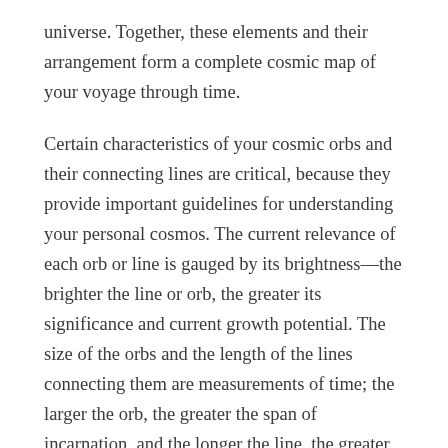universe. Together, these elements and their arrangement form a complete cosmic map of your voyage through time.
Certain characteristics of your cosmic orbs and their connecting lines are critical, because they provide important guidelines for understanding your personal cosmos. The current relevance of each orb or line is gauged by its brightness—the brighter the line or orb, the greater its significance and current growth potential. The size of the orbs and the length of the lines connecting them are measurements of time; the larger the orb, the greater the span of incarnation, and the longer the line, the greater the discarnate interval. On average, long lifetimes are followed by long after-life intervals—typically